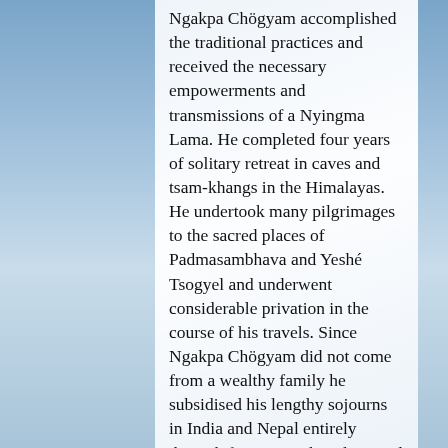Ngakpa Chögyam accomplished the traditional practices and received the necessary empowerments and transmissions of a Nyingma Lama. He completed four years of solitary retreat in caves and tsam-khangs in the Himalayas. He undertook many pilgrimages to the sacred places of Padmasambhava and Yeshé Tsogyel and underwent considerable privation in the course of his travels. Since Ngakpa Chögyam did not come from a wealthy family he subsidised his lengthy sojourns in India and Nepal entirely through factory work and manual labour in Britain between his travels. During this period, he spent as much time as he could studying and practising in the East – even though it meant living in extremely basic conditions for a while.